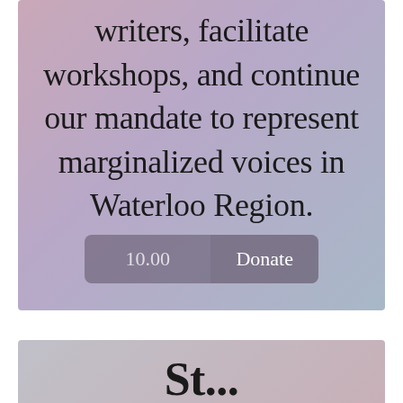writers, facilitate workshops, and continue our mandate to represent marginalized voices in Waterloo Region.
10.00  Donate
St...